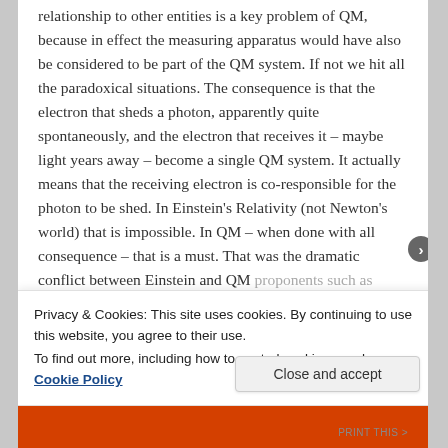relationship to other entities is a key problem of QM, because in effect the measuring apparatus would have also be considered to be part of the QM system. If not we hit all the paradoxical situations. The consequence is that the electron that sheds a photon, apparently quite spontaneously, and the electron that receives it – maybe light years away – become a single QM system. It actually means that the receiving electron is co-responsible for the photon to be shed. In Einstein's Relativity (not Newton's world) that is impossible. In QM – when done with all consequence – that is a must. That was the dramatic conflict between Einstein and QM proponents such as Planck, Heisenberg and
Privacy & Cookies: This site uses cookies. By continuing to use this website, you agree to their use.
To find out more, including how to control cookies, see here: Cookie Policy
Close and accept